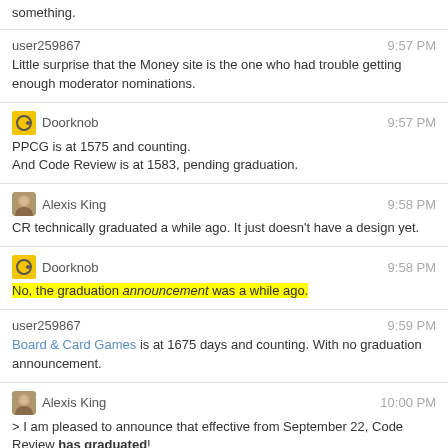something.
user259867 9:57 PM
Little surprise that the Money site is the one who had trouble getting enough moderator nominations.
Doorknob 9:57 PM
PPCG is at 1575 and counting.
And Code Review is at 1583, pending graduation.
Alexis King 9:58 PM
CR technically graduated a while ago. It just doesn't have a design yet.
Doorknob 9:58 PM
No, the graduation announcement was a while ago.
user259867 9:59 PM
Board & Card Games is at 1675 days and counting. With no graduation announcement.
Alexis King 10:00 PM
> I am pleased to announce that effective from September 22, Code Review has graduated!
cybermonkey 10:00 PM
What stops a site from graduating?
Alexis King 10:00 PM